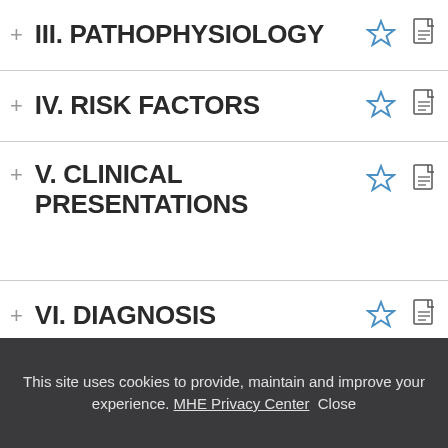III. PATHOPHYSIOLOGY
IV. RISK FACTORS
V. CLINICAL PRESENTATIONS
VI. DIAGNOSIS
VII. MANAGEMENT
VIII. PROGNOSIS
This site uses cookies to provide, maintain and improve your experience. MHE Privacy Center Close